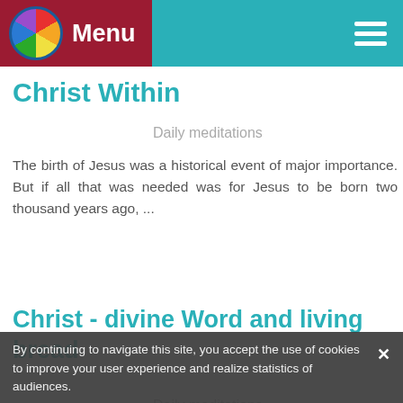Menu
Christ Within
Daily meditations
The birth of Jesus was a historical event of major importance. But if all that was needed was for Jesus to be born two thousand years ago, ...
Christ - divine Word and living bread
Daily meditations
The mouth has two important functions: eating and speaking. Food goes in our mouth and
By continuing to navigate this site, you accept the use of cookies to improve your user experience and realize statistics of audiences.